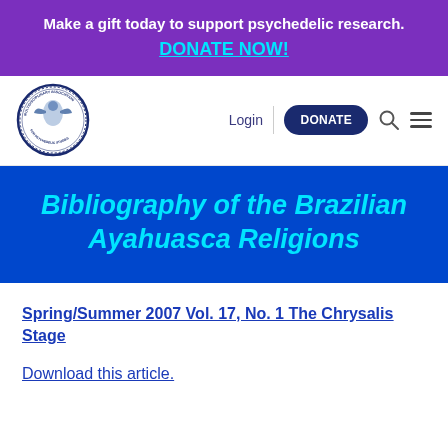Make a gift today to support psychedelic research. DONATE NOW!
[Figure (logo): MAPS (Multidisciplinary Association for Psychedelic Studies) circular logo with stylized figure]
Bibliography of the Brazilian Ayahuasca Religions
Spring/Summer 2007 Vol. 17, No. 1 The Chrysalis Stage
Download this article.